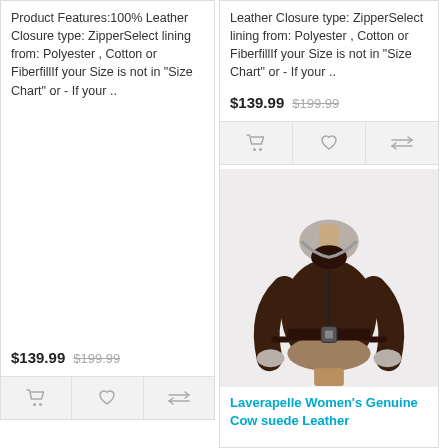Product Features:100% Leather Closure type: ZipperSelect lining from: Polyester , Cotton or FiberfillIf your Size is not in "Size Chart" or - If your ..
$139.99  $199.99
[Figure (other): Action buttons row with cart, heart/wishlist, and compare icons on grey background (left card)]
Leather Closure type: ZipperSelect lining from: Polyester , Cotton or FiberfillIf your Size is not in "Size Chart" or - If your ..
$139.99  $199.99
[Figure (other): Action buttons row with cart, heart/wishlist, and compare icons on grey background (right top card)]
[Figure (photo): Laverapelle Women's Genuine Cow suede Leather jacket - dark brown shearling aviator jacket on a mannequin]
Laverapelle Women's Genuine Cow suede Leather